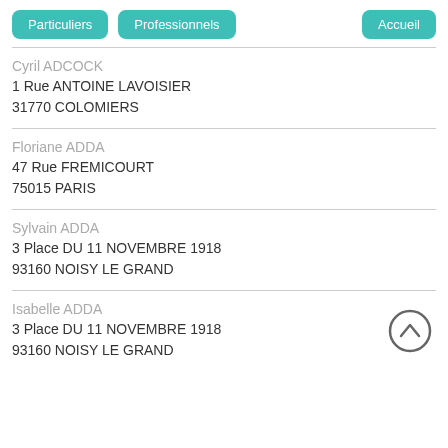Particuliers | Professionnels | Accueil
Cyril ADCOCK
1 Rue ANTOINE LAVOISIER
31770 COLOMIERS
Floriane ADDA
47 Rue FREMICOURT
75015 PARIS
Sylvain ADDA
3 Place DU 11 NOVEMBRE 1918
93160 NOISY LE GRAND
Isabelle ADDA
3 Place DU 11 NOVEMBRE 1918
93160 NOISY LE GRAND